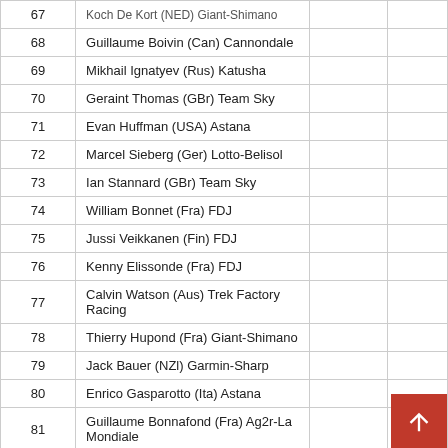| # | Rider |  |  |
| --- | --- | --- | --- |
| 67 | Koch De Kort (NED) Giant-Shimano |  |  |
| 68 | Guillaume Boivin (Can) Cannondale |  |  |
| 69 | Mikhail Ignatyev (Rus) Katusha |  |  |
| 70 | Geraint Thomas (GBr) Team Sky |  |  |
| 71 | Evan Huffman (USA) Astana |  |  |
| 72 | Marcel Sieberg (Ger) Lotto-Belisol |  |  |
| 73 | Ian Stannard (GBr) Team Sky |  |  |
| 74 | William Bonnet (Fra) FDJ |  |  |
| 75 | Jussi Veikkanen (Fin) FDJ |  |  |
| 76 | Kenny Elissonde (Fra) FDJ |  |  |
| 77 | Calvin Watson (Aus) Trek Factory Racing |  |  |
| 78 | Thierry Hupond (Fra) Giant-Shimano |  |  |
| 79 | Jack Bauer (NZl) Garmin-Sharp |  |  |
| 80 | Enrico Gasparotto (Ita) Astana |  |  |
| 81 | Guillaume Bonnafond (Fra) Ag2r-La Mondiale |  |  |
| 82 | Michael Kolar (Slo) Tinkoff-Saxobank |  |  |
| 83 | Jack Bobridge (Aus) Belkin |  |  |